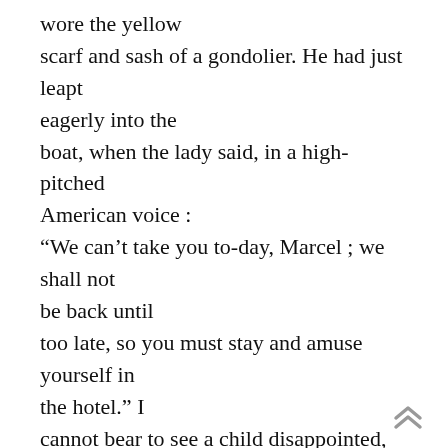wore the yellow scarf and sash of a gondolier. He had just leapt eagerly into the boat, when the lady said, in a high-pitched American voice : “We can’t take you to-day, Marcel ; we shall not be back until too late, so you must stay and amuse yourself in the hotel.” I cannot bear to see a child disappointed, still less can I bear to see a child take disappointment meekly, as this child did. It is well for men, for women, to school themselves never to hope where they wish, but in children such power of self-repression argues a precocity of pain. Poor Marcel ! I saw how his
[Figure (other): Navigation up-arrow chevron icon in bottom right corner]